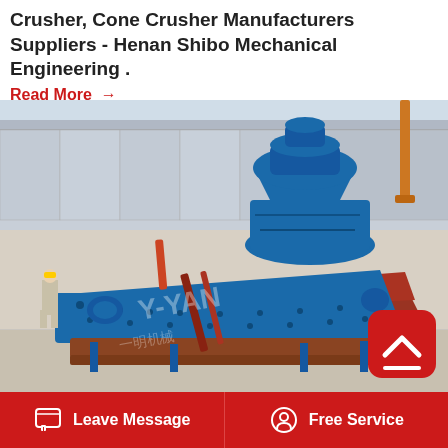Crusher, Cone Crusher Manufacturers Suppliers - Henan Shibo Mechanical Engineering .
Read More →
[Figure (photo): Industrial photo showing large blue industrial crushing and screening machinery (vibrating screen and cone crusher) in a factory yard. A worker in hard hat is visible on the left. Equipment has Y-YAN branding watermark. A red scroll-to-top button is overlaid on the right side of the image.]
Leave Message   Free Service